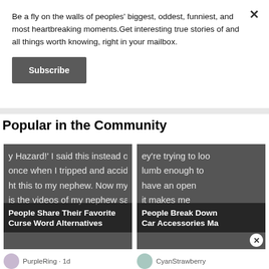Be a fly on the walls of peoples' biggest, oddest, funniest, and most heartbreaking moments.Get interesting true stories of and all things worth knowing, right in your mailbox.
Subscribe
Popular in the Community
[Figure (screenshot): Card image with text overlay: 'y Hazard!' I said this instead of.' / 'once when I tripped and accid' / 'ht this to my nephew. Now my s' / 'is the videos of my nephew say' and title 'People Share Their Favorite Curse Word Alternatives']
[Figure (screenshot): Card image with text overlay: 'ey're trying to loo' / 'lumb enough to' / 'have an open' / 'it makes me' and title 'People Break Down Car Accessories Ma']
PurpleRing · 1d
CyanStrawberry
Lemon scented, bacon wrapped,
Any pickup truck wh